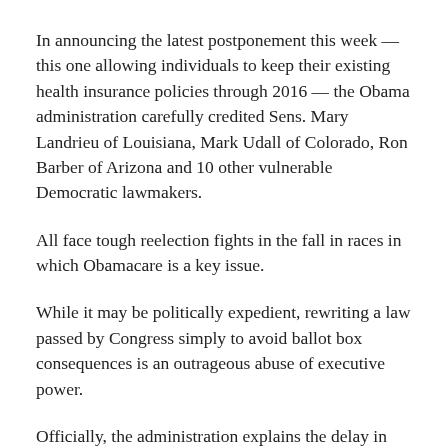In announcing the latest postponement this week — this one allowing individuals to keep their existing health insurance policies through 2016 — the Obama administration carefully credited Sens. Mary Landrieu of Louisiana, Mark Udall of Colorado, Ron Barber of Arizona and 10 other vulnerable Democratic lawmakers.
All face tough reelection fights in the fall in races in which Obamacare is a key issue.
While it may be politically expedient, rewriting a law passed by Congress simply to avoid ballot box consequences is an outrageous abuse of executive power.
Officially, the administration explains the delay in requiring all policies to meet minimum coverage standards is designed to give consumers greater flexibility in their insurance choices — but just for an